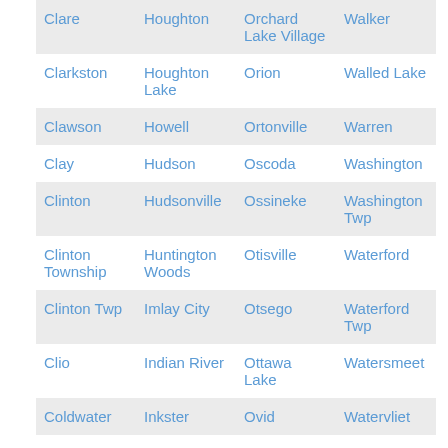| Clare | Houghton | Orchard Lake Village | Walker |
| Clarkston | Houghton Lake | Orion | Walled Lake |
| Clawson | Howell | Ortonville | Warren |
| Clay | Hudson | Oscoda | Washington |
| Clinton | Hudsonville | Ossineke | Washington Twp |
| Clinton Township | Huntington Woods | Otisville | Waterford |
| Clinton Twp | Imlay City | Otsego | Waterford Twp |
| Clio | Indian River | Ottawa Lake | Watersmeet |
| Coldwater | Inkster | Ovid | Watervliet |